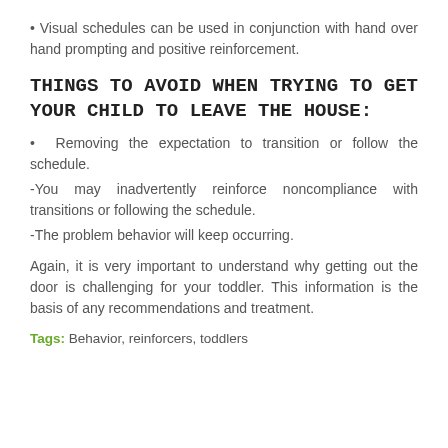Visual schedules can be used in conjunction with hand over hand prompting and positive reinforcement.
THINGS TO AVOID WHEN TRYING TO GET YOUR CHILD TO LEAVE THE HOUSE:
Removing the expectation to transition or follow the schedule.
-You may inadvertently reinforce noncompliance with transitions or following the schedule.
-The problem behavior will keep occurring.
Again, it is very important to understand why getting out the door is challenging for your toddler. This information is the basis of any recommendations and treatment.
Tags: Behavior, reinforcers, toddlers